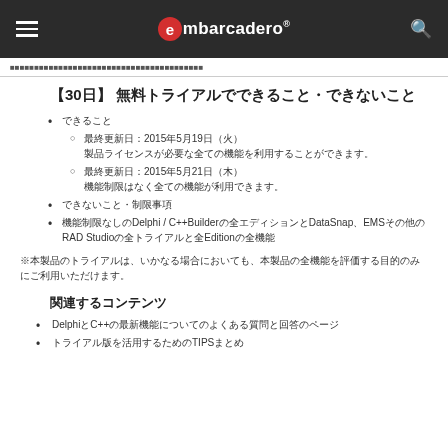embarcadero®
（breadcrumb navigation line）
【30日】 無料トライアルでできること・できないこと
できること
最終更新日：2015年5月19日（火）。製品ライセンスが必要な全ての機能を利用することができます。
最終更新日：2015年5月21日（木）。機能制限はなく全ての機能が利用できます。
できないこと・制限事項
機能制限なしのDelphi / C++BuilderのすべてのエディションとDataSnap、EMS、その他のRAD StudioのすべてのトライアルとすべてのEditionのすべての機能
※本製品のトライアルは、いかなる場合においても、本製品の全機能を評価する目的のみにご利用いただけます。
関連するコンテンツ
DelphiとC++の最新機能についてのよくある質問と回答のページ
トライアル版を活用するためのTIPSまとめ